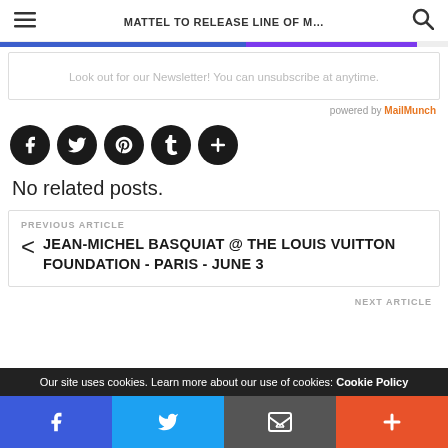MATTEL TO RELEASE LINE OF M...
Look out for our Newsletter! You can unsubscribe at anytime.
powered by MailMunch
[Figure (infographic): Five black circular social media icons: Facebook, Twitter, Pinterest, Tumblr, and a plus/more button]
No related posts.
PREVIOUS ARTICLE
JEAN-MICHEL BASQUIAT @ THE LOUIS VUITTON FOUNDATION - PARIS - JUNE 3
NEXT ARTICLE
Our site uses cookies. Learn more about our use of cookies: Cookie Policy